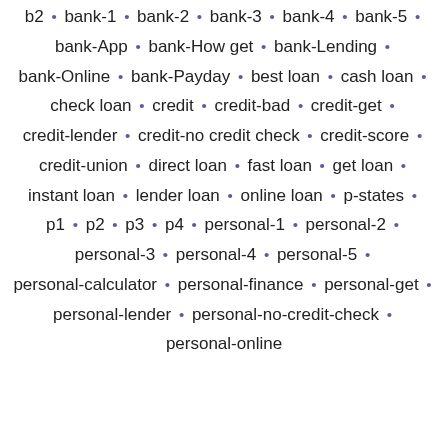b2 • bank-1 • bank-2 • bank-3 • bank-4 • bank-5 • bank-App • bank-How get • bank-Lending • bank-Online • bank-Payday • best loan • cash loan • check loan • credit • credit-bad • credit-get • credit-lender • credit-no credit check • credit-score • credit-union • direct loan • fast loan • get loan • instant loan • lender loan • online loan • p-states • p1 • p2 • p3 • p4 • personal-1 • personal-2 • personal-3 • personal-4 • personal-5 • personal-calculator • personal-finance • personal-get • personal-lender • personal-no-credit-check • personal-online